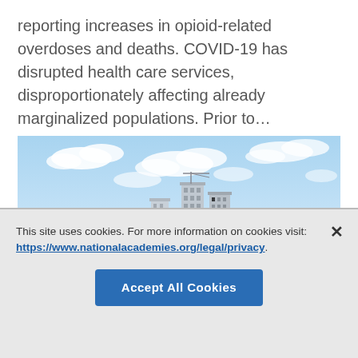reporting increases in opioid-related overdoses and deaths. COVID-19 has disrupted health care services, disproportionately affecting already marginalized populations. Prior to…
[Figure (photo): Outdoor photograph showing urban apartment buildings or high-rise towers on the left against a blue sky with white clouds, and a strip of autumn-colored trees and a forested hill in the background on the right.]
This site uses cookies. For more information on cookies visit: https://www.nationalacademies.org/legal/privacy
Accept All Cookies